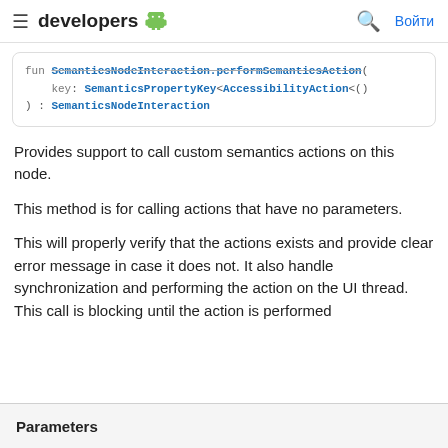≡ developers 🤖  🔍 Войти
fun SemanticsNodeInteraction.performSemanticsAction(
    key: SemanticsPropertyKey<AccessibilityAction<()
): SemanticsNodeInteraction
Provides support to call custom semantics actions on this node.
This method is for calling actions that have no parameters.
This will properly verify that the actions exists and provide clear error message in case it does not. It also handle synchronization and performing the action on the UI thread. This call is blocking until the action is performed
Parameters